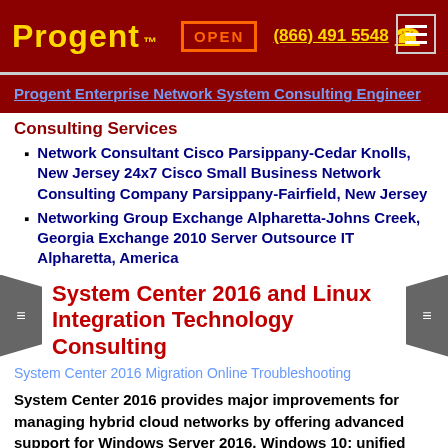Progent™ | OPEN | (866) 491 5548
Progent Enterprise Network System Consulting Engineer
Consulting Services
Network Consultant Cisco Parsippany-Cedar Knolls, New Jersey 24x7 Cisco Small Business Network Consulting Company Parsippany-Fairfield, New Jersey
Networking Group Exchange Alpharetta-Johns Creek, Georgia Exchange 2010 Server Outsource IT Alpharetta, America
System Center 2016 and Linux Integration Technology Consulting
System Center 2016 Migration Online Troubleshooting
System Center 2016 provides major improvements for managing hybrid cloud networks by offering advanced support for Windows Server 2016, Windows 10; unified management of multi-OS environments that incorporate various Linux distributions, Microsoft Hyper-V and VMware; and expanded cloud support such as closer integration with